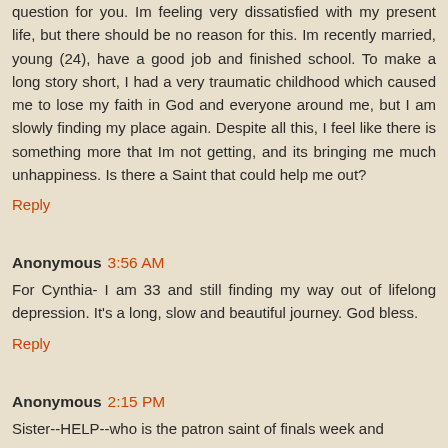question for you. Im feeling very dissatisfied with my present life, but there should be no reason for this. Im recently married, young (24), have a good job and finished school. To make a long story short, I had a very traumatic childhood which caused me to lose my faith in God and everyone around me, but I am slowly finding my place again. Despite all this, I feel like there is something more that Im not getting, and its bringing me much unhappiness. Is there a Saint that could help me out?
Reply
Anonymous 3:56 AM
For Cynthia- I am 33 and still finding my way out of lifelong depression. It's a long, slow and beautiful journey. God bless.
Reply
Anonymous 2:15 PM
Sister--HELP--who is the patron saint of finals week and